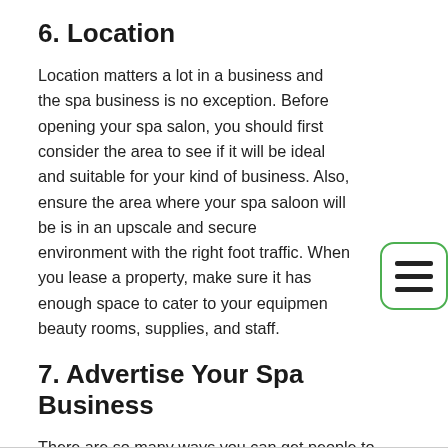6. Location
Location matters a lot in a business and the spa business is no exception. Before opening your spa salon, you should first consider the area to see if it will be ideal and suitable for your kind of business. Also, ensure the area where your spa saloon will be is in an upscale and secure environment with the right foot traffic. When you lease a property, make sure it has enough space to cater to your equipment, beauty rooms, supplies, and staff.
7. Advertise Your Spa Business
There are so many ways you can get people to notice your spa business. Start by advertising on television, Internet radio, print flyers, and distribute at events especially at weddings, birthday parties, and other events.